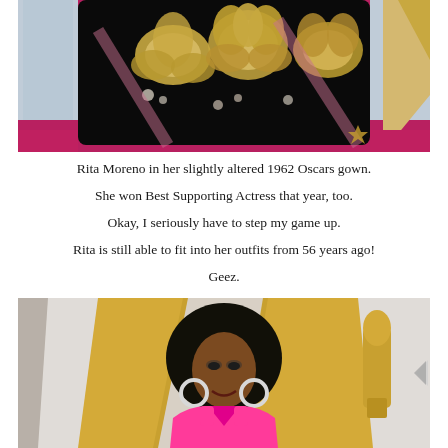[Figure (photo): Close-up photo of Rita Moreno wearing a black floral-patterned gown on a red carpet. The fabric features gold and cream floral/leaf designs. Oscar award backdrop panels visible.]
Rita Moreno in her slightly altered 1962 Oscars gown. She won Best Supporting Actress that year, too. Okay, I seriously have to step my game up. Rita is still able to fit into her outfits from 56 years ago! Geez.
[Figure (photo): Photo of a woman wearing a bright pink dress at the Oscars red carpet, smiling at the camera, wearing large hoop earrings, with curly hair. Gold Oscar statue panels visible in the background.]